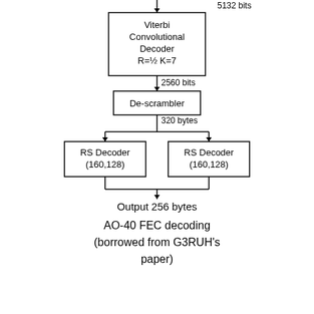[Figure (flowchart): AO-40 FEC decoding flowchart showing: input 5132 bits -> Viterbi Convolutional Decoder R=1/2 K=7 -> 2560 bits -> De-scrambler -> 320 bytes splits into two RS Decoder (160,128) blocks -> Output 256 bytes]
AO-40 FEC decoding (borrowed from G3RUH's paper)